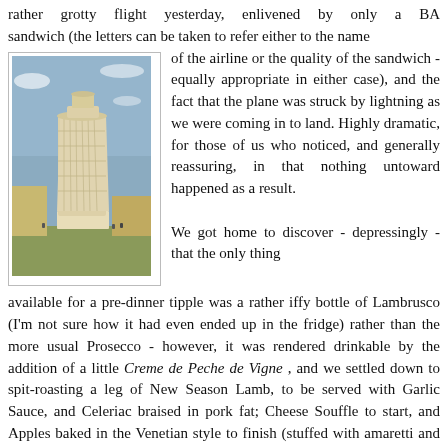rather grotty flight yesterday, enlivened by only a BA sandwich (the letters can be taken to refer either to the name of the airline or the quality of the sandwich - equally appropriate in either case), and the fact that the plane was struck by lightning as we were coming in to land. Highly dramatic, for those of us who noticed, and generally reassuring, in that nothing untoward happened as a result.

We got home to discover - depressingly - that the only thing available for a pre-dinner tipple was a rather iffy bottle of Lambrusco (I'm not sure how it had even ended up in the fridge) rather than the more usual Prosecco - however, it was rendered drinkable by the addition of a little Creme de Peche de Vigne , and we settled down to spit-roasting a leg of New Season Lamb, to be served with Garlic Sauce, and Celeriac braised in pork fat; Cheese Souffle to start, and Apples baked in the Venetian style to finish (stuffed with amaretti and sultanas, mixed with a generous helping of Dark Rum -
[Figure (photo): Photograph of the Leaning Tower of Pisa with blue sky and surrounding buildings]